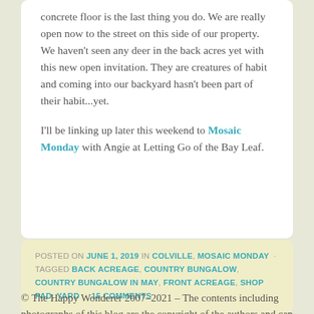concrete floor is the last thing you do. We are really open now to the street on this side of our property. We haven't seen any deer in the back acres yet with this new open invitation. They are creatures of habit and coming into our backyard hasn't been part of their habit...yet.
I'll be linking up later this weekend to Mosaic Monday with Angie at Letting Go of the Bay Leaf.
POSTED ON JUNE 1, 2019 IN COLVILLE, MOSAIC MONDAY · TAGGED BACK ACREAGE, COUNTRY BUNGALOW, COUNTRY BUNGALOW IN MAY, FRONT ACREAGE, SHOP PAD, YARD · 15 COMMENTS
© The Happy Wonderer 2007–2021 – The contents including photographs of this blog are the copyright of the authors and can not be